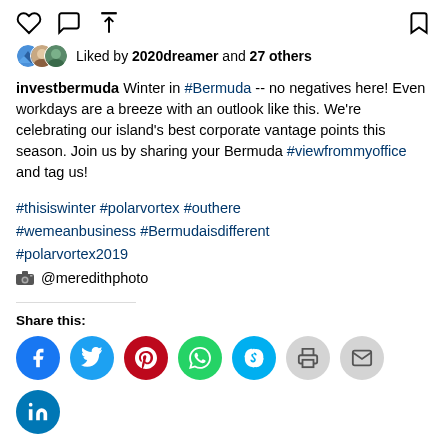[Figure (screenshot): Instagram-style action icons row: heart (like), speech bubble (comment), share arrow on left; bookmark on right]
Liked by 2020dreamer and 27 others
investbermuda Winter in #Bermuda -- no negatives here! Even workdays are a breeze with an outlook like this. We're celebrating our island's best corporate vantage points this season. Join us by sharing your Bermuda #viewfrommyoffice and tag us!
#thisiswinter #polarvortex #outhere #wemeanbusiness #Bermudaisdifferent #polarvortex2019 📷 @meredithphoto
Share this:
[Figure (infographic): Row of social share buttons: Facebook (blue), Twitter (light blue), Pinterest (red), WhatsApp (green), Skype (light blue), Print (grey), Email (grey), LinkedIn (blue)]
Like this:
Loading...